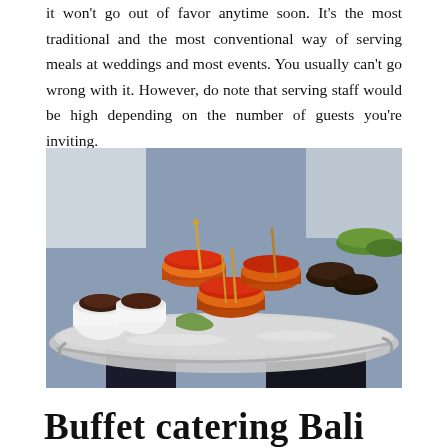it won't go out of favor anytime soon. It's the most traditional and the most conventional way of serving meals at weddings and most events. You usually can't go wrong with it. However, do note that serving staff would be high depending on the number of guests you're inviting.
[Figure (photo): A catering server holding a large silver tray filled with mini burgers with toothpicks and various other appetizers in small white cups]
Buffet catering Bali